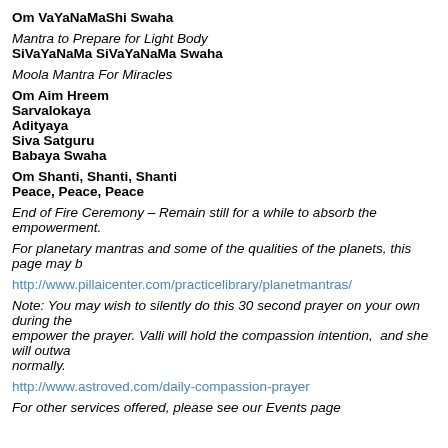Om VaYaNaMaShi Swaha
Mantra to Prepare for Light Body
SiVaYaNaMa SiVaYaNaMa Swaha
Moola Mantra For Miracles
Om Aim Hreem
Sarvalokaya
Adityaya
Siva Satguru
Babaya Swaha
Om Shanti, Shanti, Shanti
Peace, Peace, Peace
End of Fire Ceremony – Remain still for a while to absorb the empowerment.
For planetary mantras and some of the qualities of the planets, this page may b
http://www.pillaicenter.com/practicelibrary/planetmantras/
Note: You may wish to silently do this 30 second prayer on your own during the empower the prayer. Valli will hold the compassion intention,  and she will outwa normally.
http://www.astroved.com/daily-compassion-prayer
For other services offered, please see our Events page